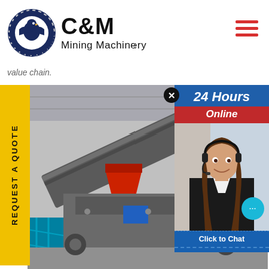[Figure (logo): C&M Mining Machinery logo with eagle/gear emblem in dark navy circle, bold C&M text and Mining Machinery subtitle]
value chain.
[Figure (illustration): Yellow vertical sidebar tab with rotated text reading REQUEST A QUOTE]
[Figure (photo): Mining/industrial machinery in a large warehouse facility, conveyor belts and crushers visible]
[Figure (infographic): 24 Hours Online chat support panel showing a female customer service agent with headset, with Click to Chat button and Enquiry label at bottom]